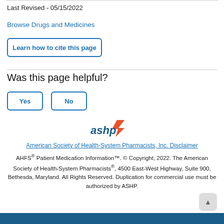Last Revised - 05/15/2022
Browse Drugs and Medicines
Learn how to cite this page
Was this page helpful?
Yes
No
[Figure (logo): ASHP (American Society of Health-System Pharmacists) logo with orange chevron/arrow and blue text]
American Society of Health-System Pharmacists, Inc. Disclaimer
AHFS® Patient Medication Information™. © Copyright, 2022. The American Society of Health-System Pharmacists®, 4500 East-West Highway, Suite 900, Bethesda, Maryland. All Rights Reserved. Duplication for commercial use must be authorized by ASHP.